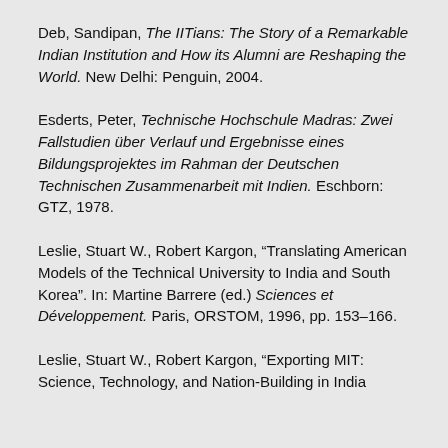Deb, Sandipan, The IITians: The Story of a Remarkable Indian Institution and How its Alumni are Reshaping the World. New Delhi: Penguin, 2004.
Esderts, Peter, Technische Hochschule Madras: Zwei Fallstudien über Verlauf und Ergebnisse eines Bildungsprojektes im Rahman der Deutschen Technischen Zusammenarbeit mit Indien. Eschborn: GTZ, 1978.
Leslie, Stuart W., Robert Kargon, "Translating American Models of the Technical University to India and South Korea". In: Martine Barrere (ed.) Sciences et Développement. Paris, ORSTOM, 1996, pp. 153–166.
Leslie, Stuart W., Robert Kargon, "Exporting MIT: Science, Technology, and Nation-Building in India